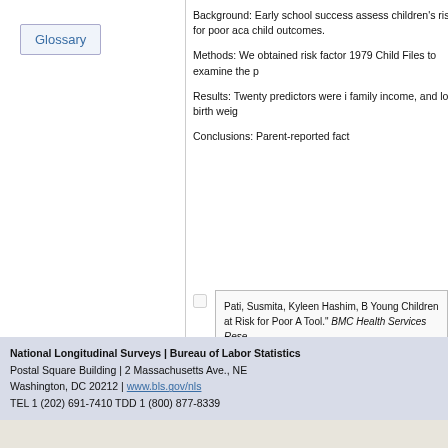Glossary
Background: Early school success assess children's risk for poor academic child outcomes.
Methods: We obtained risk factor 1979 Child Files to examine the p
Results: Twenty predictors were identified family income, and low birth weight
Conclusions: Parent-reported fact
Pati, Susmita, Kyleen Hashim, B Young Children at Risk for Poor A Tool." BMC Health Services Rese
National Longitudinal Surveys | Bureau of Labor Statistics
Postal Square Building | 2 Massachusetts Ave., NE
Washington, DC 20212 | www.bls.gov/nls
TEL 1 (202) 691-7410 TDD 1 (800) 877-8339